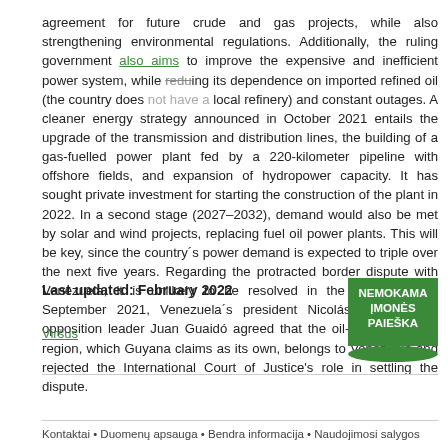agreement for future crude and gas projects, while also strengthening environmental regulations. Additionally, the ruling government also aims to improve the expensive and inefficient power system, while reducing its dependence on imported refined oil (the country does not have a local refinery) and constant outages. A cleaner energy strategy announced in October 2021 entails the upgrade of the transmission and distribution lines, the building of a gas-fuelled power plant fed by a 220-kilometer pipeline with offshore fields, and expansion of hydropower capacity. It has sought private investment for starting the construction of the plant in 2022. In a second stage (2027–2032), demand would also be met by solar and wind projects, replacing fuel oil power plants. This will be key, since the country´s power demand is expected to triple over the next five years. Regarding the protracted border dispute with Venezuela, it is unlikely to be resolved in the short-term. In September 2021, Venezuela´s president Nicolás Maduro and opposition leader Juan Guaidó agreed that the oil-rich Essequibo region, which Guyana claims as its own, belongs to Venezuela and rejected the International Court of Justice's role in settling the dispute.
Last updated: February 2022
[Figure (other): Green box with Lithuanian text: NEMOKAMA ĮMONĖS PAIEŠKA]
Viršus
Kontaktai • Duomenų apsauga • Bendra informacija • Naudojimosi salygos